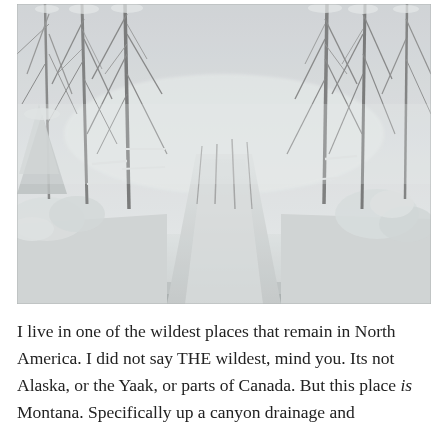[Figure (photo): A snowy winter scene showing a narrow road or path disappearing into a fog-shrouded forest of bare deciduous trees, all heavily covered in snow. The foreground shows a snow-covered surface, likely viewed from inside a vehicle.]
I live in one of the wildest places that remain in North America. I did not say THE wildest, mind you. Its not Alaska, or the Yaak, or parts of Canada. But this place is Montana. Specifically up a canyon drainage and